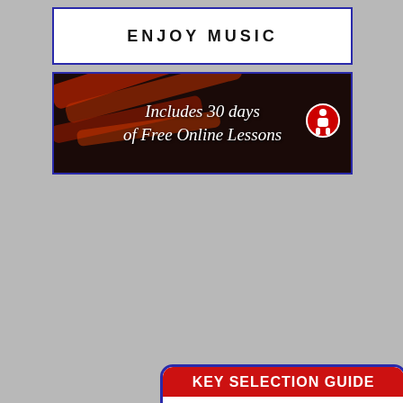ENJOY MUSIC
[Figure (illustration): Promotional banner: dark background with red/orange harmonicas, italic white text reading 'Includes 30 days of Free Online Lessons' with a Hohner logo icon on the right]
KEY SELECTION GUIDE
1st Position=Straight Harp
2nd Position=Cross Harp
3rd Position=Double Cross Harp
| Key of Song | 1st | 2nd | 3rd |
| --- | --- | --- | --- |
| Db | Db | F# | B(H) |
| Ab | Ab | Db | F# |
| Eb | Eb | Ab | Db |
| Bb | Bb | Eb | Ab |
| F | F | Bb | Eb |
| C | C | F | Bb |
| G | G | C | F |
| D | D | G | C |